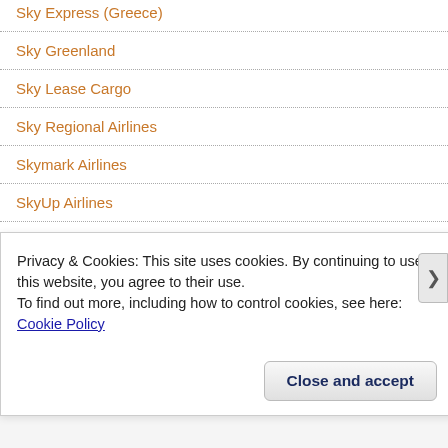Sky Express (Greece)
Sky Greenland
Sky Lease Cargo
Sky Regional Airlines
Skymark Airlines
SkyUp Airlines
Skyview Airways
SkyWest Airlines (USA)
Small Planet Airlines (Germany)
Small Planet Airlines (Lithuania)
Privacy & Cookies: This site uses cookies. By continuing to use this website, you agree to their use.
To find out more, including how to control cookies, see here: Cookie Policy